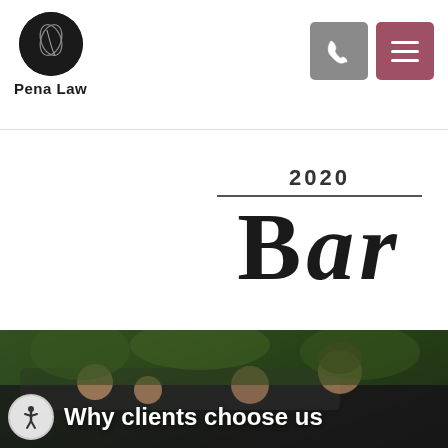[Figure (logo): Pena Law logo — circular black logo with stylized graphic above text 'Pena Law']
[Figure (screenshot): Navigation buttons: phone icon on grey background, hamburger menu icon on mauve/pink background]
[Figure (illustration): 2020 Texas Bar badge with large bold serif text 'BAR' and a horizontal rule]
[Figure (photo): Family of four with sunglasses leaning out of a car window smiling and waving, with trees in background]
Why clients choose us